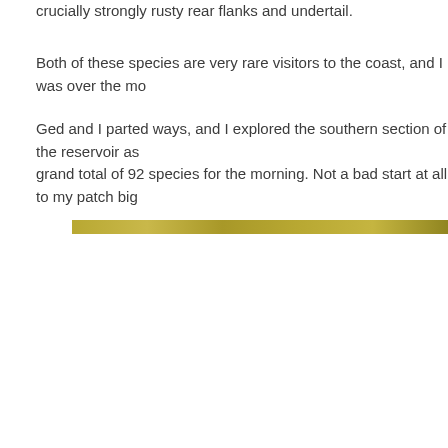crucially strongly rusty rear flanks and undertail.
Both of these species are very rare visitors to the coast, and I was over the mo
Ged and I parted ways, and I explored the southern section of the reservoir as grand total of 92 species for the morning. Not a bad start at all to my patch big
[Figure (other): Horizontal decorative bar with olive/gold gradient texture]